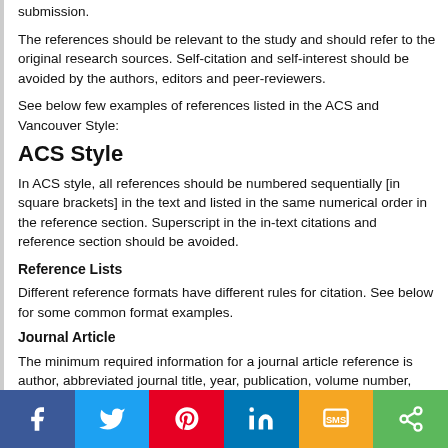submission.
The references should be relevant to the study and should refer to the original research sources. Self-citation and self-interest should be avoided by the authors, editors and peer-reviewers.
See below few examples of references listed in the ACS and Vancouver Style:
ACS Style
In ACS style, all references should be numbered sequentially [in square brackets] in the text and listed in the same numerical order in the reference section. Superscript in the in-text citations and reference section should be avoided.
Reference Lists
Different reference formats have different rules for citation. See below for some common format examples.
Journal Article
The minimum required information for a journal article reference is author, abbreviated journal title, year, publication, volume number, and initial page of cited article, though complete pagination is possible. Journal